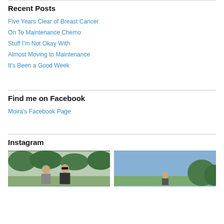Recent Posts
Five Years Clear of Breast Cancer
On To Maintenance Chemo
Stuff I'm Not Okay With
Almost Moving to Maintenance
It's Been a Good Week
Find me on Facebook
Moira's Facebook Page
Instagram
[Figure (photo): Two people standing outdoors with trees in background]
[Figure (photo): Outdoor scene with blue sky and trees]